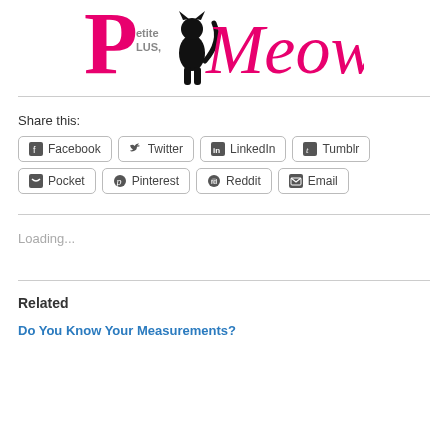[Figure (logo): Petite Plus Meow! blog logo in pink and black lettering with a silhouette of a cat figure]
Share this:
Facebook  Twitter  LinkedIn  Tumblr  Pocket  Pinterest  Reddit  Email
Loading...
Related
Do You Know Your Measurements?